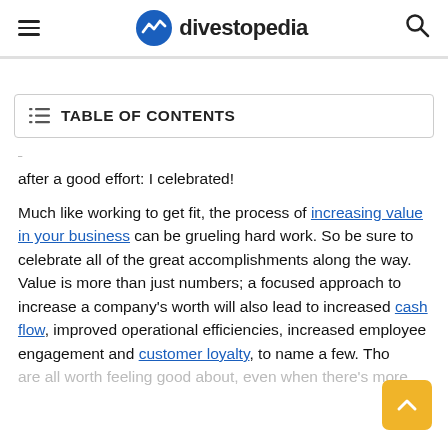divestopedia
TABLE OF CONTENTS
after a good effort: I celebrated!
Much like working to get fit, the process of increasing value in your business can be grueling hard work. So be sure to celebrate all of the great accomplishments along the way. Value is more than just numbers; a focused approach to increase a company's worth will also lead to increased cash flow, improved operational efficiencies, increased employee engagement and customer loyalty, to name a few. Those are all worth feeling good about, even when there's more